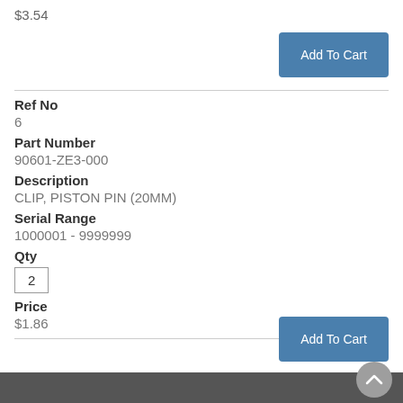$3.54
Add To Cart
Ref No
6
Part Number
90601-ZE3-000
Description
CLIP, PISTON PIN (20MM)
Serial Range
1000001 - 9999999
Qty
2
Price
$1.86
Add To Cart